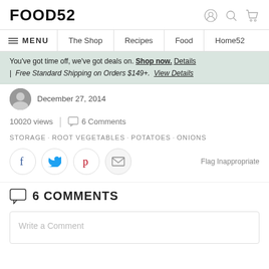FOOD52
MENU | The Shop | Recipes | Food | Home52
You've got time off, we've got deals on. Shop now. Details | Free Standard Shipping on Orders $149+. View Details
December 27, 2014
10020 views | 6 Comments
STORAGE · ROOT VEGETABLES · POTATOES · ONIONS
[Figure (infographic): Social share buttons: Facebook, Twitter, Pinterest, Email. Flag Inappropriate link on the right.]
6 COMMENTS
Write a Comment